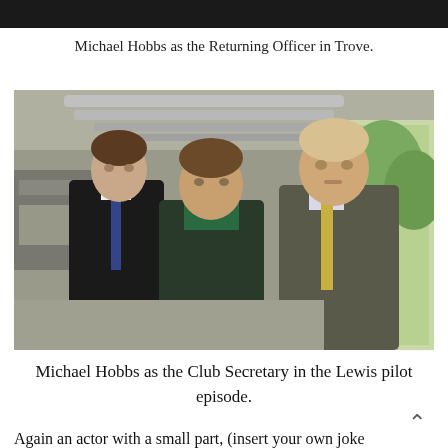[Figure (photo): Dark strip at top of page, partial photo crop]
Michael Hobbs as the Returning Officer in Trove.
[Figure (photo): Three men standing in what appears to be a boathouse or industrial building. The man on the left wears a dark suit with a patterned tie. The man in the center wears a dark jacket over a green polo shirt. The man on the right wears a grey suit with a yellow tie. Background shows metal pipes/tubes and an open doorway with trees visible outside.]
Michael Hobbs as the Club Secretary in the Lewis pilot episode.
Again an actor with a small part, (insert your own joke